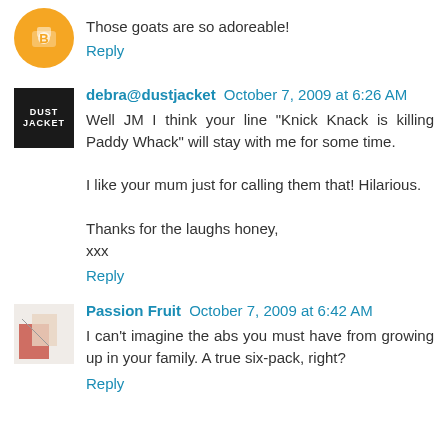Those goats are so adoreable!
Reply
debra@dustjacket October 7, 2009 at 6:26 AM
Well JM I think your line "Knick Knack is killing Paddy Whack" will stay with me for some time.

I like your mum just for calling them that! Hilarious.

Thanks for the laughs honey,
xxx
Reply
Passion Fruit October 7, 2009 at 6:42 AM
I can't imagine the abs you must have from growing up in your family. A true six-pack, right?
Reply